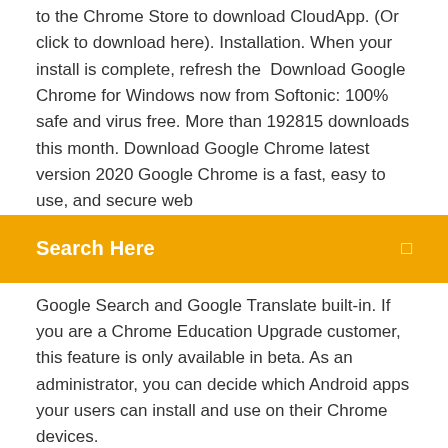to the Chrome Store to download CloudApp. (Or click to download here). Installation. When your install is complete, refresh the  Download Google Chrome for Windows now from Softonic: 100% safe and virus free. More than 192815 downloads this month. Download Google Chrome latest version 2020 Google Chrome is a fast, easy to use, and secure web
[Figure (screenshot): Orange search bar with white text 'Search Here' and a small icon on the right]
Google Search and Google Translate built-in. If you are a Chrome Education Upgrade customer, this feature is only available in beta. As an administrator, you can decide which Android apps your users can install and use on their Chrome devices.
Chromium OS is an open-source project that aims to build an operating system that provides a fast, simple, and more secure computing experience for people who spend most of their time on the web. How to download movies on Android?? hiw to